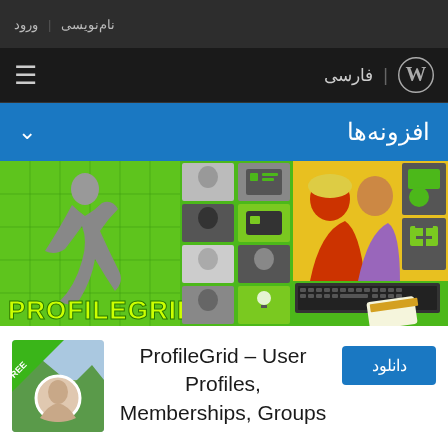نام‌نویسی  ورود
فارسی
افزونه‌ها
[Figure (photo): ProfileGrid plugin banner showing people profiles on green background with PROFILEGRID logo]
دانلود
ProfileGrid – User Profiles, Memberships, Groups
[Figure (photo): Plugin thumbnail showing a person with FREE badge overlay]